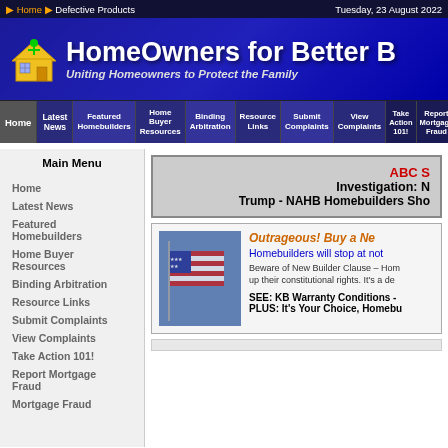Home ▶ Defective Products    Tuesday, 23 August 2022
[Figure (logo): HomeOwners for Better B[uilding] website header banner with house logo icon and tagline: Uniting Homeowners to Protect the Family]
[Figure (screenshot): Navigation menu bar with items: Home, Latest News, Featured Homebuilders, Home Buyer Resources, Binding Arbitration, Resource Links, Submit Complaints, View Complaints, Take Action 101!, Report Mortgage Fraud, Mortgage Frau[d] New[s]]
Main Menu
Home
Latest News
Featured Homebuilders
Home Buyer Resources
Binding Arbitration
Resource Links
Submit Complaints
View Complaints
Take Action 101!
Report Mortgage Fraud
Mortgage Fraud
ABC S[tories] Investigation: N[ew] Trump - NAHB Homebuilders Sho[uld...]
Outrageous! Buy a Ne[w Home...] Homebuilders will stop at not[hing...] Beware of New Builder Clause – Hom[eowners sign] up their constitutional rights. It's a de[al...] SEE: KB Warranty Conditions - PLUS: It's Your Choice, Homebu[ilders...]
[Figure (photo): American flag photo with dramatic lighting against blue background]